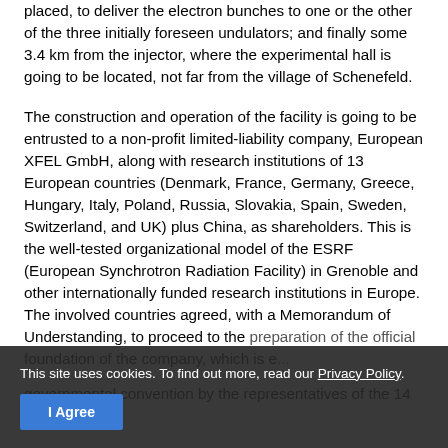placed, to deliver the electron bunches to one or the other of the three initially foreseen undulators; and finally some 3.4 km from the injector, where the experimental hall is going to be located, not far from the village of Schenefeld.
The construction and operation of the facility is going to be entrusted to a non-profit limited-liability company, European XFEL GmbH, along with research institutions of 13 European countries (Denmark, France, Germany, Greece, Hungary, Italy, Poland, Russia, Slovakia, Spain, Sweden, Switzerland, and UK) plus China, as shareholders. This is the well-tested organizational model of the ESRF (European Synchrotron Radiation Facility) in Grenoble and other internationally funded research institutions in Europe. The involved countries agreed, with a Memorandum of Understanding, to proceed to the preparation of the official foundation of the company, which is e... governmental convention by the representatives of the 14 countries.
This site uses cookies. To find out more, read our Privacy Policy.